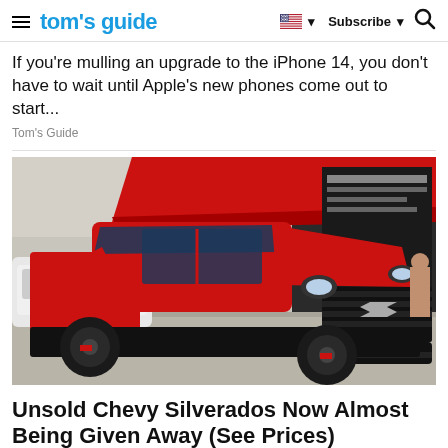tom's guide | Subscribe
If you're mulling an upgrade to the iPhone 14, you don't have to wait until Apple's new phones come out to start...
Tom's Guide
[Figure (photo): Red Chevrolet Silverado pickup truck on display at an auto show, front three-quarter view, with black accents and red calipers. A white SUV and exhibition booth visible in background.]
Unsold Chevy Silverados Now Almost Being Given Away (See Prices)